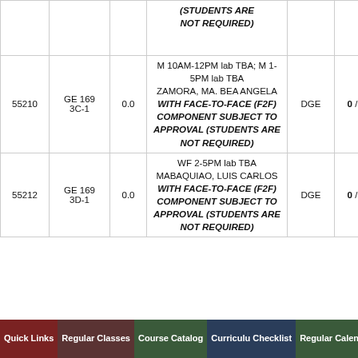| Course No. | Section | Units | Schedule / Instructor | College | Slots | WL |
| --- | --- | --- | --- | --- | --- | --- |
|  |  |  | (STUDENTS ARE NOT REQUIRED) |  |  |  |
| 55210 | GE 169 3C-1 | 0.0 | M 10AM-12PM lab TBA; M 1-5PM lab TBA
ZAMORA, MA. BEA ANGELA
WITH FACE-TO-FACE (F2F) COMPONENT SUBJECT TO APPROVAL (STUDENTS ARE NOT REQUIRED) | DGE | 0 / 21 | 0 |
| 55212 | GE 169 3D-1 | 0.0 | WF 2-5PM lab TBA
MABAQUIAO, LUIS CARLOS
WITH FACE-TO-FACE (F2F) COMPONENT SUBJECT TO APPROVAL (STUDENTS ARE NOT REQUIRED) | DGE | 0 / 21 | 0 |
Quick Links | Regular Classes | Course Catalog | Curriculum Checklist | Regular Calendar | CRS FAQ | The CRS | Privacy Notice | More